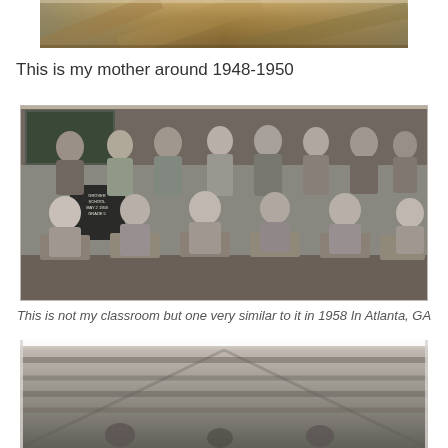[Figure (photo): Partial view of an old photograph, cropped — shows blurred warm-toned background, appears to be top portion of a vintage photo]
This is my mother around 1948-1950
[Figure (photo): Black and white classroom photo from 1958 in Atlanta, GA showing children seated at desks with a teacher, a chalkboard sign reads 'GROVER SCHOOL MAY 2 1958 GRADE 5']
This is not my classroom but one very similar to it in 1958 In Atlanta, GA
[Figure (photo): Black and white photo, bottom portion visible — appears to show interior of a building with wooden ceiling/rafters and some figures below]